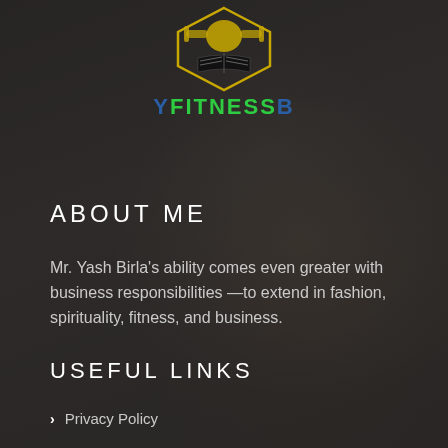[Figure (logo): YFitnessB logo with muscular figure holding books, flanked by dumbbells, above open book, with text Y FITNESS B]
ABOUT ME
Mr. Yash Birla's ability comes even greater with business responsibilities —to extend in fashion, spirituality, fitness, and business.
USEFUL LINKS
Privacy Policy